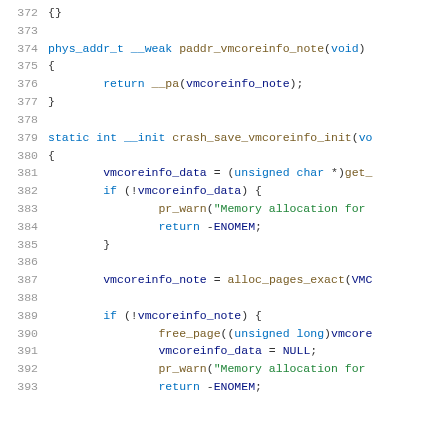[Figure (screenshot): Source code viewer showing C code lines 372-393, with syntax highlighting. Line numbers in gray on the left, keywords in blue, strings in green, identifiers in dark/brown.]